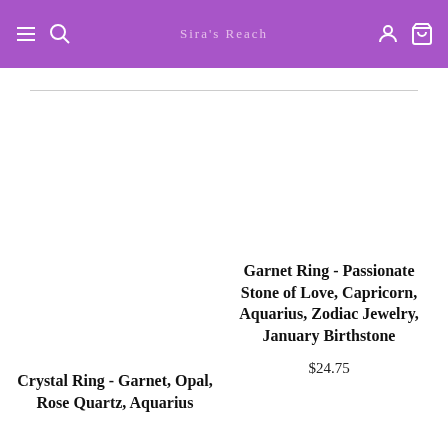Sira's Reach — navigation header with menu, search, account, and cart icons
Garnet Ring - Passionate Stone of Love, Capricorn, Aquarius, Zodiac Jewelry, January Birthstone
$24.75
Crystal Ring - Garnet, Opal, Rose Quartz, Aquarius